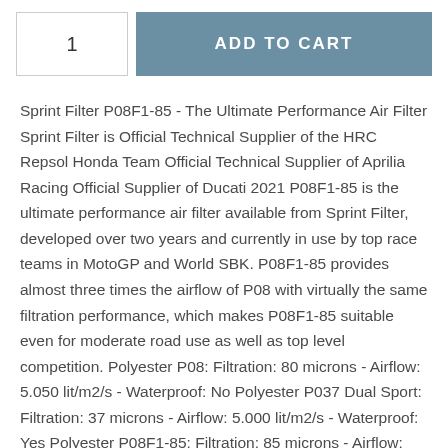1
ADD TO CART
Sprint Filter P08F1-85 - The Ultimate Performance Air Filter Sprint Filter is Official Technical Supplier of the HRC Repsol Honda Team Official Technical Supplier of Aprilia Racing Official Supplier of Ducati 2021 P08F1-85 is the ultimate performance air filter available from Sprint Filter, developed over two years and currently in use by top race teams in MotoGP and World SBK. P08F1-85 provides almost three times the airflow of P08 with virtually the same filtration performance, which makes P08F1-85 suitable even for moderate road use as well as top level competition. Polyester P08: Filtration: 80 microns - Airflow: 5.050 lit/m2/s - Waterproof: No Polyester P037 Dual Sport: Filtration: 37 microns - Airflow: 5.000 lit/m2/s - Waterproof: Yes Polyester P08F1-85: Filtration: 85 microns - Airflow: 15.000 lit/m2/s - Waterproof: Yes P08F1-85 uses a special polyester material with a wire diameter of only